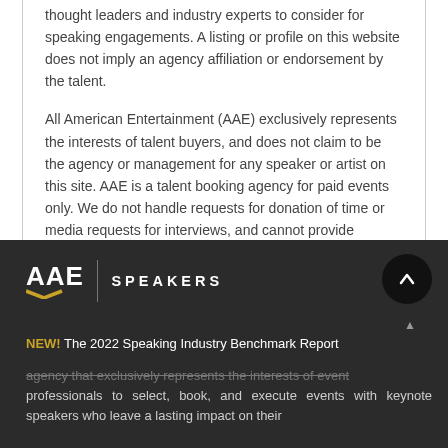thought leaders and industry experts to consider for speaking engagements. A listing or profile on this website does not imply an agency affiliation or endorsement by the talent.
All American Entertainment (AAE) exclusively represents the interests of talent buyers, and does not claim to be the agency or management for any speaker or artist on this site. AAE is a talent booking agency for paid events only. We do not handle requests for donation of time or media requests for interviews, and cannot provide celebrity contact information.
[Figure (logo): AAE Speakers logo with stylized chevron and text 'AAE | SPEAKERS' on dark background]
NEW! The 2022 Speaking Industry Benchmark Report
agency that exclusively represents the interests of event professionals to select, book, and execute events with keynote speakers who leave a lasting impact on their